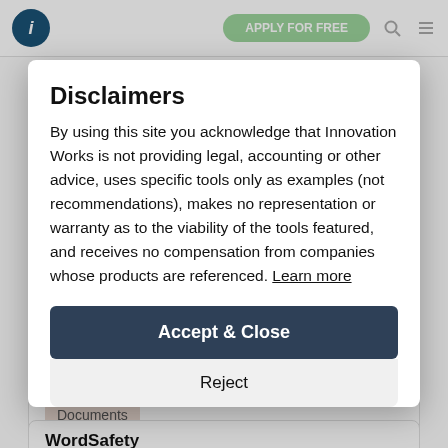Disclaimers
By using this site you acknowledge that Innovation Works is not providing legal, accounting or other advice, uses specific tools only as examples (not recommendations), makes no representation or warranty as to the viability of the tools featured, and receives no compensation from companies whose products are referenced. Learn more
Accept & Close
Reject
A list of market research questions for B2B/SaaS companie...
Documents
Free Tier?
WordSafety